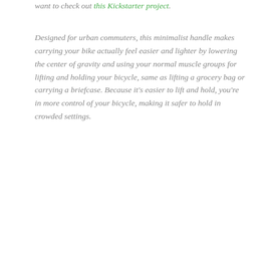want to check out this Kickstarter project.
Designed for urban commuters, this minimalist handle makes carrying your bike actually feel easier and lighter by lowering the center of gravity and using your normal muscle groups for lifting and holding your bicycle, same as lifting a grocery bag or carrying a briefcase. Because it's easier to lift and hold, you're in more control of your bicycle, making it safer to hold in crowded settings.